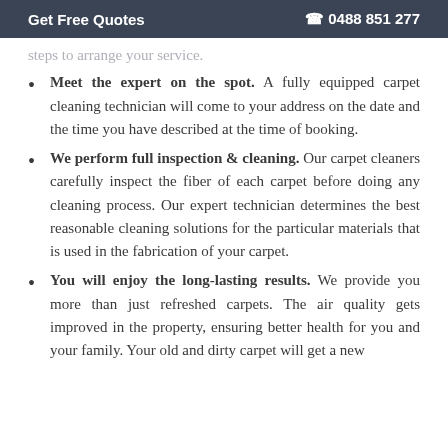Get Free Quotes  ☎ 0488 851 277
steps to arrange your service.
Meet the expert on the spot. A fully equipped carpet cleaning technician will come to your address on the date and the time you have described at the time of booking.
We perform full inspection & cleaning. Our carpet cleaners carefully inspect the fiber of each carpet before doing any cleaning process. Our expert technician determines the best reasonable cleaning solutions for the particular materials that is used in the fabrication of your carpet.
You will enjoy the long-lasting results. We provide you more than just refreshed carpets. The air quality gets improved in the property, ensuring better health for you and your family. Your old and dirty carpet will get a new